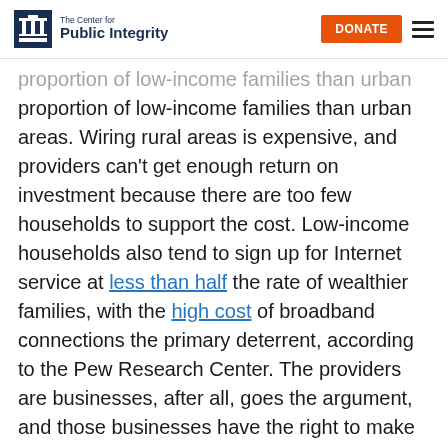The Center for Public Integrity | DONATE
proportion of low-income families than urban areas. Wiring rural areas is expensive, and providers can't get enough return on investment because there are too few households to support the cost. Low-income households also tend to sign up for Internet service at less than half the rate of wealthier families, with the high cost of broadband connections the primary deterrent, according to the Pew Research Center. The providers are businesses, after all, goes the argument, and those businesses have the right to make money, and choose where to do business based on whether they can make a profit there or